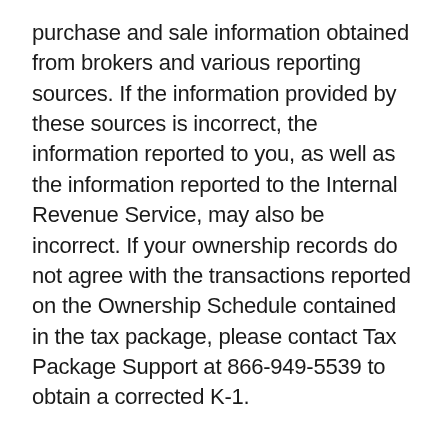purchase and sale information obtained from brokers and various reporting sources. If the information provided by these sources is incorrect, the information reported to you, as well as the information reported to the Internal Revenue Service, may also be incorrect. If your ownership records do not agree with the transactions reported on the Ownership Schedule contained in the tax package, please contact Tax Package Support at 866-949-5539 to obtain a corrected K-1.
Is any of the allocated Income Unrelated